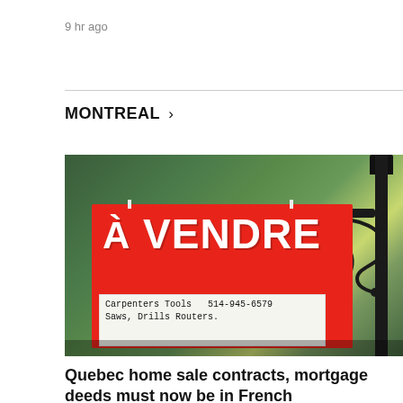9 hr ago
MONTREAL >
[Figure (photo): A red 'À VENDRE' (For Sale) sign with a handwritten note reading 'Carpenters Tools 514-945-6579 Saws, Drills Routers.' hung on a black ornamental iron post with green foliage in the background.]
Quebec home sale contracts, mortgage deeds must now be in French
As of Thursday, contracts for home sales in Quebec must be